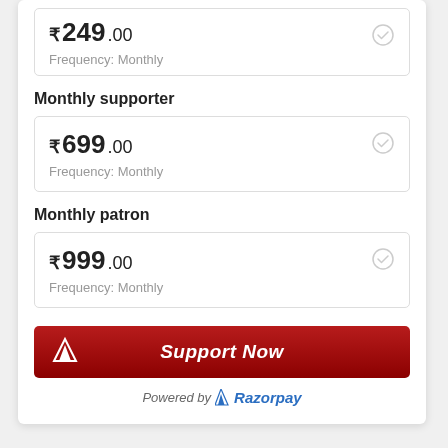₹ 249.00  Frequency: Monthly
Monthly supporter
₹ 699.00  Frequency: Monthly
Monthly patron
₹ 999.00  Frequency: Monthly
Support Now
Powered by Razorpay